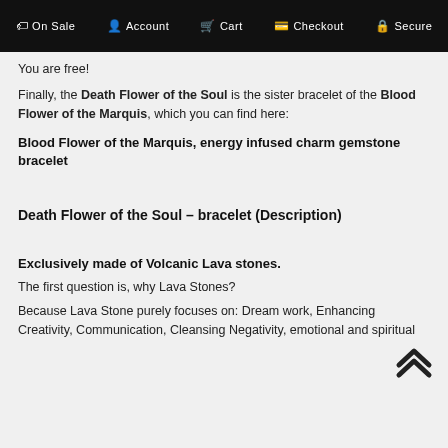On Sale   Account   Cart   Checkout   Secure
You are free!
Finally, the Death Flower of the Soul is the sister bracelet of the Blood Flower of the Marquis, which you can find here:
Blood Flower of the Marquis, energy infused charm gemstone bracelet
Death Flower of the Soul – bracelet (Description)
Exclusively made of Volcanic Lava stones.
The first question is, why Lava Stones?
Because Lava Stone purely focuses on: Dream work, Enhancing Creativity, Communication, Cleansing Negativity, emotional and spiritual